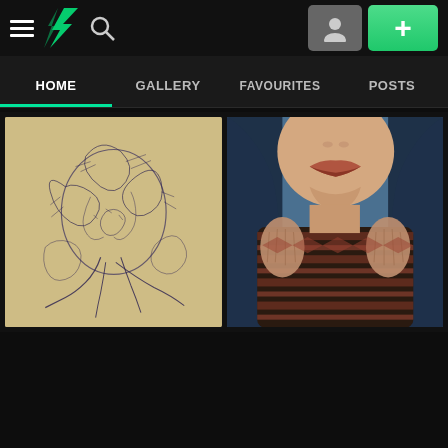[Figure (screenshot): DeviantArt mobile app screenshot showing navigation bar with hamburger menu, DeviantArt logo, search icon, profile button, and green plus button]
HOME | GALLERY | FAVOURITES | POSTS
[Figure (illustration): Ballpoint pen sketch drawing of an abstract tree-like figure with intricate scribbled lines on yellowish paper background]
[Figure (illustration): Colored pencil or pastel portrait artwork showing lower face and neck of a person with blue hair and detailed scarf/collar]